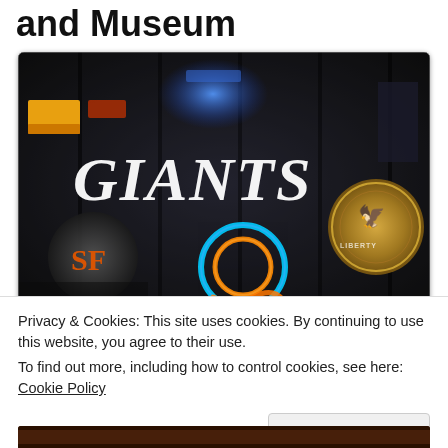and Museum
[Figure (photo): A storefront window display showing neon signs including what appears to be 'GIANTS' text in large white italic letters, a neon blue circular sign, a circular emblem/seal on the right side, and a San Francisco Giants baseball cap visible on the left. The image has dark background with colorful neon lighting.]
Privacy & Cookies: This site uses cookies. By continuing to use this website, you agree to their use.
To find out more, including how to control cookies, see here: Cookie Policy
Close and accept